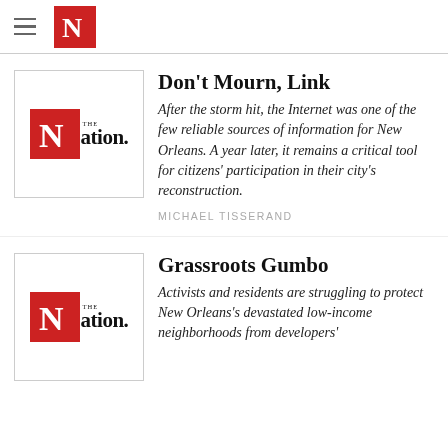The Nation — mobile app header with hamburger menu and N logo
[Figure (logo): The Nation magazine logo thumbnail for article 1]
Don't Mourn, Link
After the storm hit, the Internet was one of the few reliable sources of information for New Orleans. A year later, it remains a critical tool for citizens' participation in their city's reconstruction.
MICHAEL TISSERAND
[Figure (logo): The Nation magazine logo thumbnail for article 2]
Grassroots Gumbo
Activists and residents are struggling to protect New Orleans's devastated low-income neighborhoods from developers'